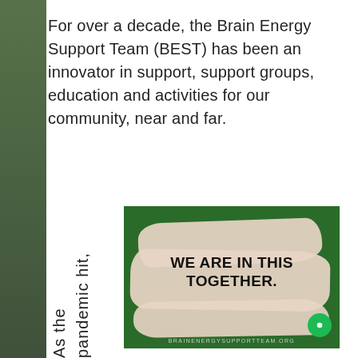For over a decade, the Brain Energy Support Team (BEST) has been an innovator in support, support groups, education and activities for our community, near and far.
As the pandemic hit,
[Figure (infographic): Green square graphic with beige/cream paint brush strokes and text reading 'WE ARE IN THIS TOGETHER.' with website URL BRAINENERGYSUPPORTTEAM.ORG at the bottom]